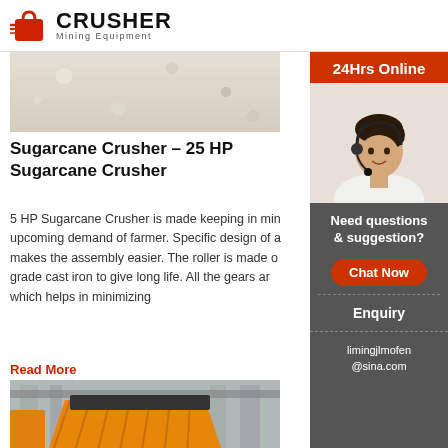CRUSHER Mining Equipment
[Figure (photo): Close-up photo of white/cream granular material (sugar or similar)]
Sugarcane Crusher - 25 HP Sugarcane Crusher
5 HP Sugarcane Crusher is made keeping in mind upcoming demand of farmer. Specific design of a makes the assembly easier. The roller is made o grade cast iron to give long life. All the gears ar which helps in minimizing
Read More
[Figure (photo): Yellow/orange industrial jaw crusher mining equipment in a factory hall]
Sugarcane Crusher,Sugar Cane Ju
[Figure (photo): Customer service representative (woman with headset) sidebar advertisement]
24Hrs Online
Need questions & suggestion?
Chat Now
Enquiry
limingjlmofen@sina.com